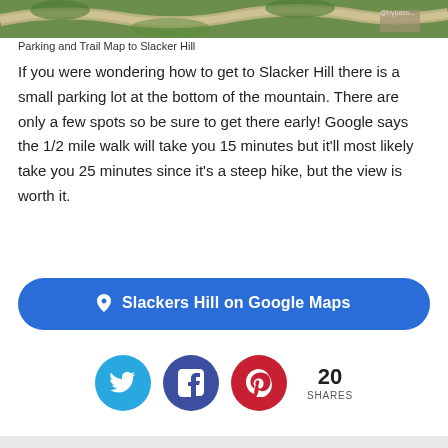[Figure (map): Aerial/satellite map showing parking area and trail to Slacker Hill, with road and green terrain visible]
Parking and Trail Map to Slacker Hill
If you were wondering how to get to Slacker Hill there is a small parking lot at the bottom of the mountain. There are only a few spots so be sure to get there early! Google says the 1/2 mile walk will take you 15 minutes but it'll most likely take you 25 minutes since it's a steep hike, but the view is worth it.
📍 Slackers Hill on Google Maps
[Figure (infographic): Social share buttons: Twitter (blue circle with bird icon), Facebook (dark blue circle with f icon), Pinterest (red circle with P icon), and share count showing 20 SHARES]